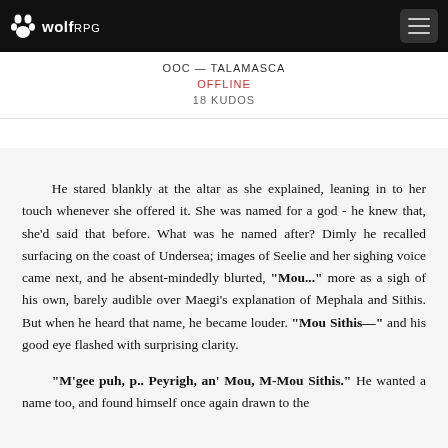wolf RPG — OOC — TALAMASCA — OFFLINE — 18 KUDOS
OOC — TALAMASCA
OFFLINE
18 KUDOS
He stared blankly at the altar as she explained, leaning in to her touch whenever she offered it. She was named for a god - he knew that, she'd said that before. What was he named after? Dimly he recalled surfacing on the coast of Undersea; images of Seelie and her sighing voice came next, and he absent-mindedly blurted, "Mou..." more as a sigh of his own, barely audible over Maegi's explanation of Mephala and Sithis. But when he heard that name, he became louder. "Mou Sithis—" and his good eye flashed with surprising clarity.
"M'gee puh, p.. Peyrigh, an' Mou, M-Mou Sithis." He wanted a name too, and found himself once again drawn to the